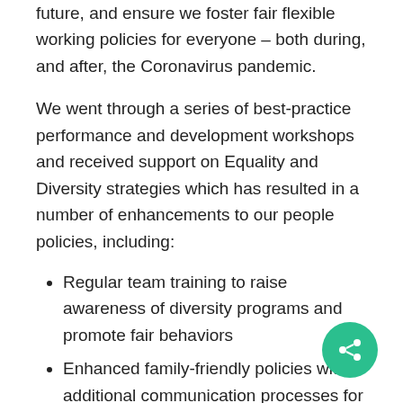future, and ensure we foster fair flexible working policies for everyone – both during, and after, the Coronavirus pandemic.
We went through a series of best-practice performance and development workshops and received support on Equality and Diversity strategies which has resulted in a number of enhancements to our people policies, including:
Regular team training to raise awareness of diversity programs and promote fair behaviors
Enhanced family-friendly policies with additional communication processes for anyone on parental leave, e.g. more